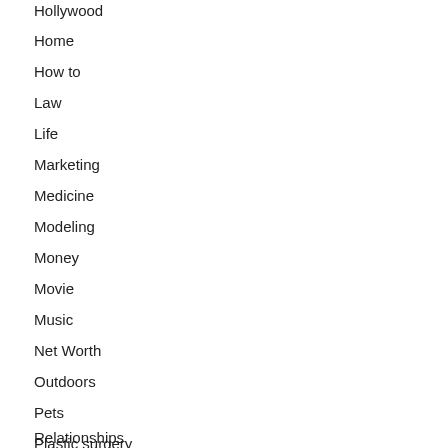Hollywood
Home
How to
Law
Life
Marketing
Medicine
Modeling
Money
Movie
Music
Net Worth
Outdoors
Pets
Plastic surgery
Relationships